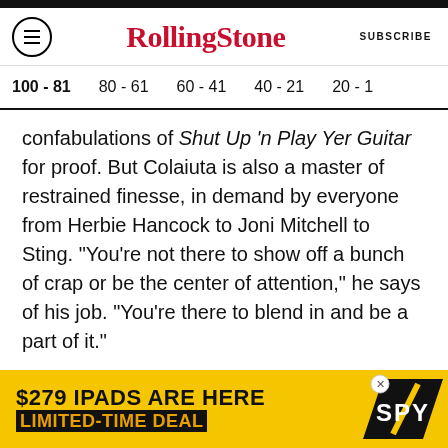Rolling Stone | SUBSCRIBE
100 - 81  80 - 61  60 - 41  40 - 21  20 - 1
confabulations of Shut Up 'n Play Yer Guitar for proof. But Colaiuta is also a master of restrained finesse, in demand by everyone from Herbie Hancock to Joni Mitchell to Sting. "You're not there to show off a bunch of crap or be the center of attention," he says of his job. "You're there to blend in and be a part of it."
ADVERTISEMENT
[Figure (screenshot): Advertisement banner: '$279 IPADS ARE HERE LIMITED-TIME DEAL' with SPY logo on yellow background]